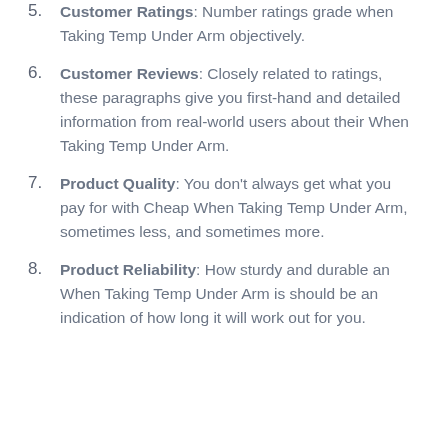5. Customer Ratings: Number ratings grade when Taking Temp Under Arm objectively.
6. Customer Reviews: Closely related to ratings, these paragraphs give you first-hand and detailed information from real-world users about their When Taking Temp Under Arm.
7. Product Quality: You don't always get what you pay for with Cheap When Taking Temp Under Arm, sometimes less, and sometimes more.
8. Product Reliability: How sturdy and durable an When Taking Temp Under Arm is should be an indication of how long it will work out for you.